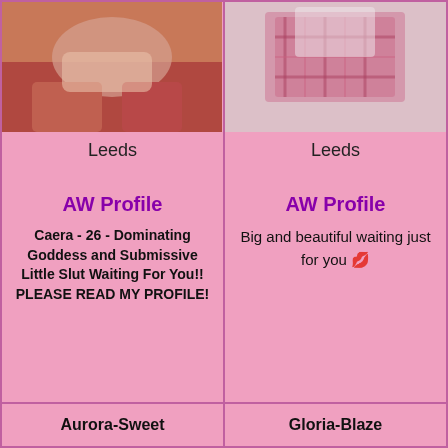[Figure (photo): Photo of person on red surface, left card]
[Figure (photo): Photo of person in plaid skirt, right card]
Leeds
Leeds
AW Profile
AW Profile
Caera - 26 - Dominating Goddess and Submissive Little Slut Waiting For You!! PLEASE READ MY PROFILE!
Big and beautiful waiting just for you 💋
Aurora-Sweet
Gloria-Blaze